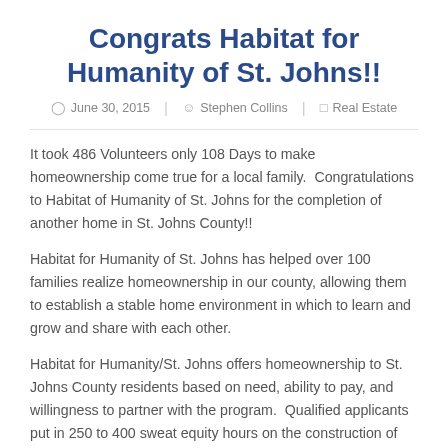Congrats Habitat for Humanity of St. Johns!!
June 30, 2015  |  Stephen Collins  |  Real Estate
It took 486 Volunteers only 108 Days to make homeownership come true for a local family.  Congratulations to Habitat of Humanity of St. Johns for the completion of another home in St. Johns County!!
Habitat for Humanity of St. Johns has helped over 100 families realize homeownership in our county, allowing them to establish a stable home environment in which to learn and grow and share with each other.
Habitat for Humanity/St. Johns offers homeownership to St. Johns County residents based on need, ability to pay, and willingness to partner with the program.  Qualified applicants put in 250 to 400 sweat equity hours on the construction of their home—it's a hand